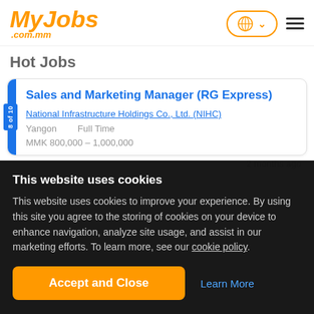MyJobs.com.mm
Hot Jobs
Sales and Marketing Manager (RG Express)
National Infrastructure Holdings Co., Ltd. (NIHC)
Yangon    Full Time
MMK 800,000 – 1,000,000
2 months ago
This website uses cookies
This website uses cookies to improve your experience. By using this site you agree to the storing of cookies on your device to enhance navigation, analyze site usage, and assist in our marketing efforts. To learn more, see our cookie policy.
Accept and Close
Learn More